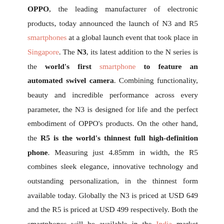OPPO, the leading manufacturer of electronic products, today announced the launch of N3 and R5 smartphones at a global launch event that took place in Singapore. The N3, its latest addition to the N series is the world's first smartphone to feature an automated swivel camera. Combining functionality, beauty and incredible performance across every parameter, the N3 is designed for life and the perfect embodiment of OPPO's products. On the other hand, the R5 is the world's thinnest full high-definition phone. Measuring just 4.85mm in width, the R5 combines sleek elegance, innovative technology and outstanding personalization, in the thinnest form available today. Globally the N3 is priced at USD 649 and the R5 is priced at USD 499 respectively. Both the smartphones will be available in the India market soon.